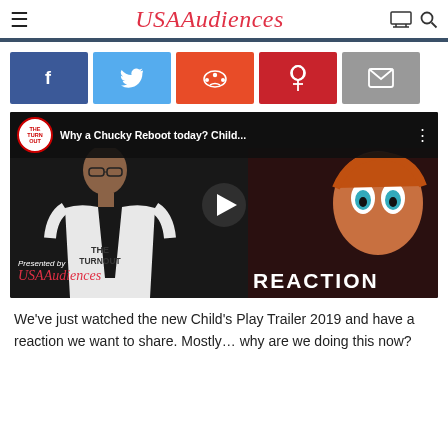USA Audiences
[Figure (screenshot): Social sharing buttons: Facebook, Twitter, Reddit, Pinterest, Email]
[Figure (screenshot): YouTube video thumbnail: Why a Chucky Reboot today? Child's Play Trailer Reaction, presented by USA Audiences and The Turnout, featuring a man in a white shirt and Chucky doll image, with play button overlay]
We've just watched the new Child's Play Trailer 2019 and have a reaction we want to share. Mostly… why are we doing this now?